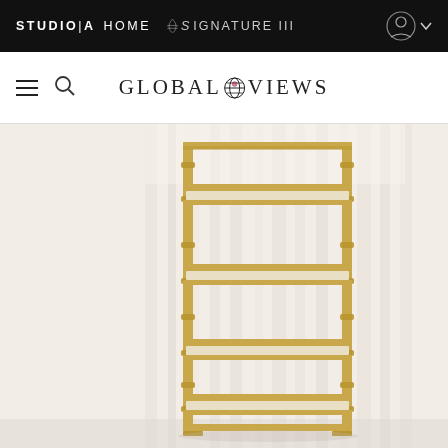STUDIO|A  HOME  SIGNATURE III
[Figure (logo): Global Views logo with globe icon between GLOBAL and VIEWS text]
[Figure (photo): Gold bamboo-style 5-shelf etagere bookshelf with cream/beige shelves, photographed against white curtain backdrop]